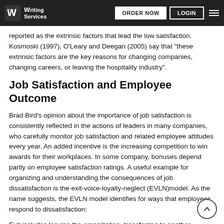Writing Services | ORDER NOW | LOGIN
reported as the extrinsic factors that lead the low satisfaction. Kosmoski (1997), O'Leary and Deegan (2005) say that “these extrinsic factors are the key reasons for changing companies, changing careers, or leaving the hospitality industry”.
Job Satisfaction and Employee Outcome
Brad Bird’s opinion about the importance of job satisfaction is consistently reflected in the actions of leaders in many companies, who carefully monitor job satisfaction and related employee attitudes every year. An added incentive is the increasing competition to win awards for their workplaces. In some company, bonuses depend partly on employee satisfaction ratings. A useful example for organizing and understanding the consequences of job dissatisfaction is the exit-voice-loyalty-neglect (EVLN)model. As the name suggests, the EVLN model identifies for ways that employees respond to dissatisfaction:
Exit includes leaving the organization, transferring to another